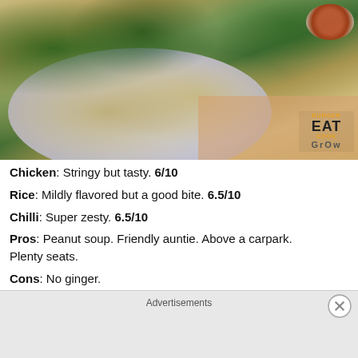[Figure (photo): A plate of Hainanese chicken rice with green vegetables (kai lan), sliced poached chicken, and a side dish of chili sauce. A logo in the bottom right reads BURGER EAT COOK GROW.]
Chicken: Stringy but tasty. 6/10
Rice: Mildly flavored but a good bite. 6.5/10
Chilli: Super zesty. 6.5/10
Pros: Peanut soup. Friendly auntie. Above a carpark. Plenty seats.
Cons: No ginger.
Cost: $2.50-$3
Advertisements